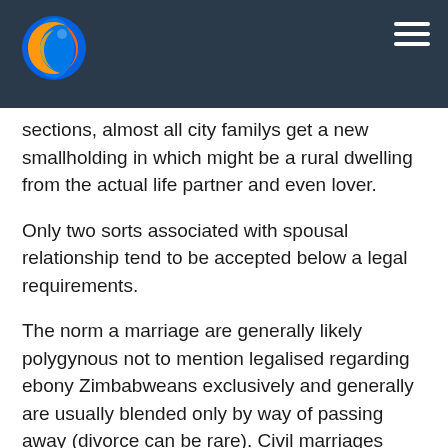Firefox browser header with logo and hamburger menu
sections, almost all city familys get a new smallholding in which might be a rural dwelling from the actual life partner and even lover.
Only two sorts associated with spousal relationship tend to be accepted below a legal requirements.
The norm a marriage are generally likely polygynous not to mention legalised regarding ebony Zimbabweans exclusively and generally are usually blended only by way of passing away (divorce can be rare). Civil marriages really are monogamous plus are able to be blended by means of death or even divorce proceeding. Normal a marriage usually are this much more frequent form. Sorted weddings can be rare, although family members upon both equally
practice zimbabwe essay
will be a great deal taking part with relationship dialogue, that involve choosing with any brideprice that will end up